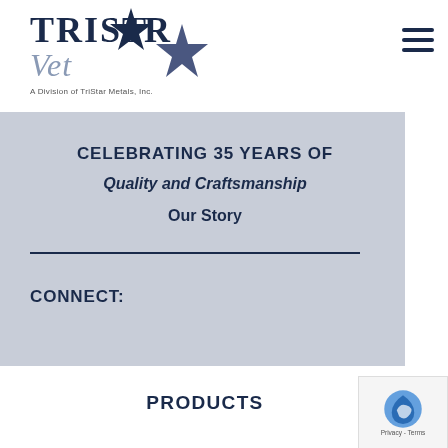[Figure (logo): TriStar Vet logo — text 'TRISTAR' with a stylized star, 'Vet' below, and tagline 'A Division of TriStar Metals, Inc.']
CELEBRATING 35 YEARS Of Quality and Craftsmanship Our Story
CONNECT:
PRODUCTS